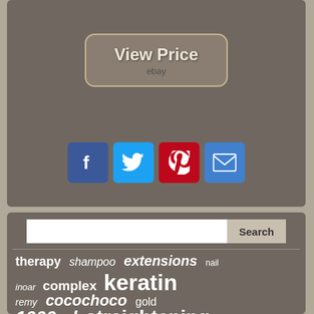[Figure (screenshot): View Price button with eBay branding on grey background]
[Figure (infographic): Social media share icons: Facebook, Twitter, Pinterest, Email]
[Figure (screenshot): Search bar with tag cloud including: therapy, shampoo, extensions, nail, inoar, complex, keratin, remy, cocochoco, gold, 1000ml, straightening, 34oz]